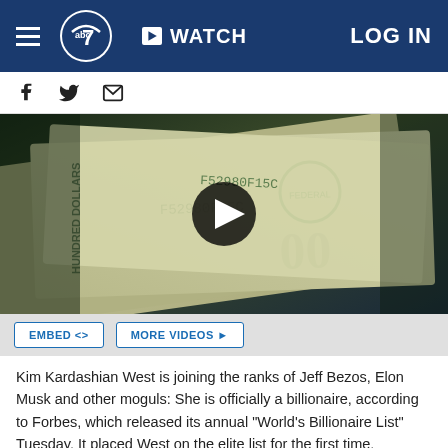WATCH  LOG IN
[Figure (screenshot): ABC7 news website header with hamburger menu, ABC7 logo, WATCH button, and LOG IN link on dark blue background]
[Figure (photo): Close-up photo of US hundred dollar bills stacked together, with a video play button overlay]
EMBED <>   MORE VIDEOS ▶
Kim Kardashian West is joining the ranks of Jeff Bezos, Elon Musk and other moguls: She is officially a billionaire, according to Forbes, which released its annual "World's Billionaire List" Tuesday. It placed West on the elite list for the first time.